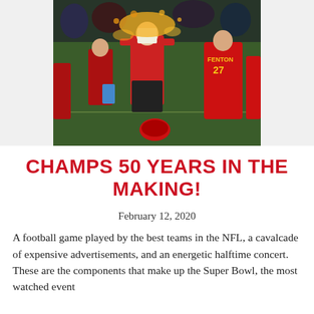[Figure (photo): Football celebration photo showing a coach in red being doused with Gatorade on the field. Players visible including one wearing jersey number 27 with name FENTON.]
CHAMPS 50 YEARS IN THE MAKING!
February 12, 2020
A football game played by the best teams in the NFL, a cavalcade of expensive advertisements, and an energetic halftime concert. These are the components that make up the Super Bowl, the most watched event...